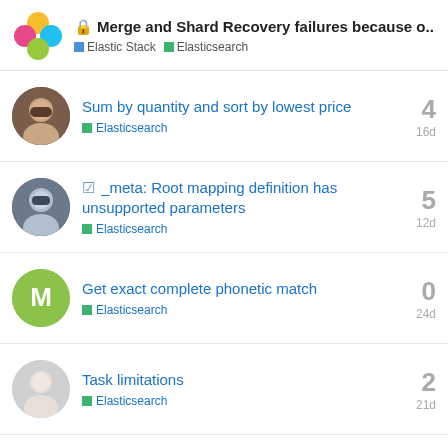Merge and Shard Recovery failures because o... | Elastic Stack | Elasticsearch
Sum by quantity and sort by lowest price | Elasticsearch | 4 | 16d
✓ _meta: Root mapping definition has unsupported parameters | Elasticsearch | 5 | 12d
Get exact complete phonetic match | Elasticsearch | 0 | 24d
Task limitations | Elasticsearch | 2 | 21d
Want to read more? Browse other topics in Elasticsearch or view latest topics.